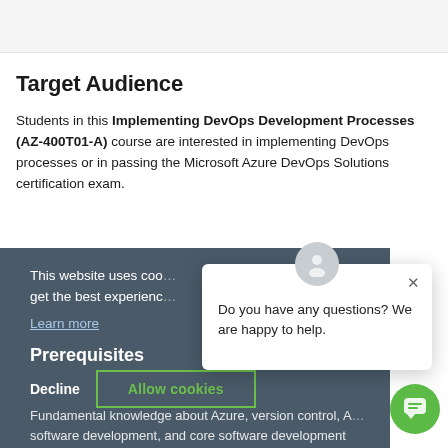Target Audience
Students in this Implementing DevOps Development Processes (AZ-400T01-A) course are interested in implementing DevOps processes or in passing the Microsoft Azure DevOps Solutions certification exam.
This website uses cookies to get the best experience
Learn more
Prerequisites
Decline
Allow cookies
Fundamental knowledge about Azure, version control, Agile software development, and core software development processes. It would be helpful to have experience in an organization that
Do you have any questions? We are happy to help.